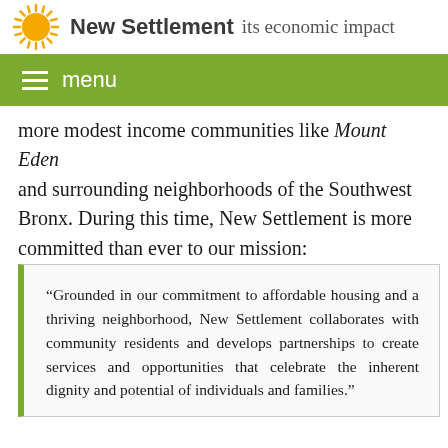New Settlement
The COVID settlement its economic impact have created unprecedented challenges for families more modest income communities like Mount Eden and surrounding neighborhoods of the Southwest Bronx. During this time, New Settlement is more committed than ever to our mission:
“Grounded in our commitment to affordable housing and a thriving neighborhood, New Settlement collaborates with community residents and develops partnerships to create services and opportunities that celebrate the inherent dignity and potential of individuals and families.”